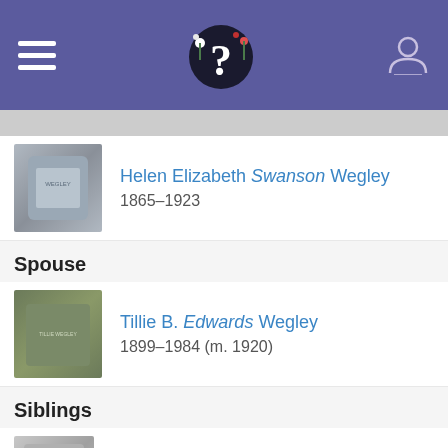[Figure (screenshot): App header bar with hamburger menu, flower/question mark logo, and user profile icon on purple background]
[Figure (photo): Gravestone thumbnail for Helen Elizabeth Swanson Wegley]
Helen Elizabeth Swanson Wegley
1865–1923
Spouse
[Figure (photo): Gravestone thumbnail for Tillie B. Edwards Wegley]
Tillie B. Edwards Wegley
1899–1984 (m. 1920)
Siblings
[Figure (photo): Gravestone thumbnail for Minerva Pearl Foster]
Minerva Pearl Foster
1887–1938
[Figure (photo): Gravestone thumbnail for Howard J. Wegley]
Howard J. Wegley
1904–1937
Children
John W. Wegley